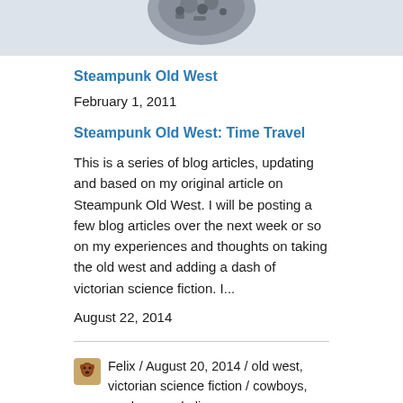[Figure (photo): Partial image of a steampunk-themed object (dark metallic gears/machinery) on a light gray background, cropped at the top of the page]
Steampunk Old West
February 1, 2011
Steampunk Old West: Time Travel
This is a series of blog articles, updating and based on my original article on Steampunk Old West. I will be posting a few blog articles over the next week or so on my experiences and thoughts on taking the old west and adding a dash of victorian science fiction. I...
August 22, 2014
Felix / August 20, 2014 / old west, victorian science fiction / cowboys, cowboys and aliens